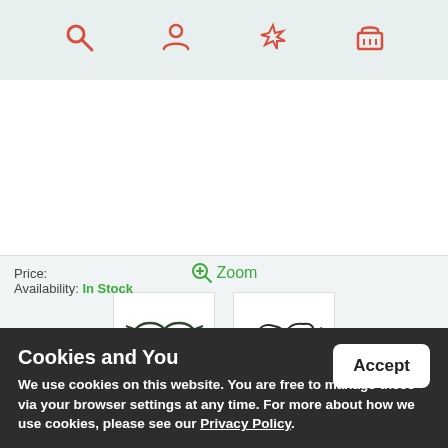Navigation icons: search, account, magic wand, cart
[Figure (photo): White product image area (main product photo placeholder)]
Zoom
[Figure (photo): Two thumbnail images of reading glasses]
Reading Glasses - Womens - Samba - Teal
Price:
Availability: In Stock
Cookies and You
We use cookies on this website. You are free to manage these via your browser settings at any time. For more about how we use cookies, please see our Privacy Policy.
Accept